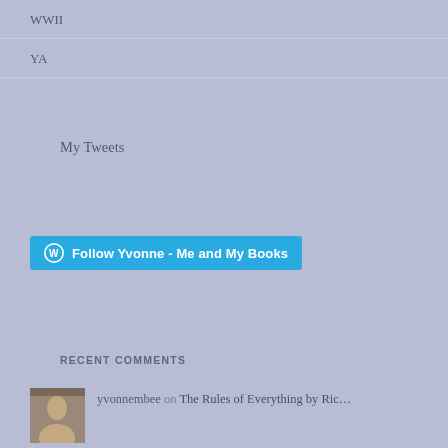WWII
YA
My Tweets
[Figure (other): Follow Yvonne - Me and My Books WordPress follow button]
RECENT COMMENTS
yvonnembee on The Rules of Everything by Ric...